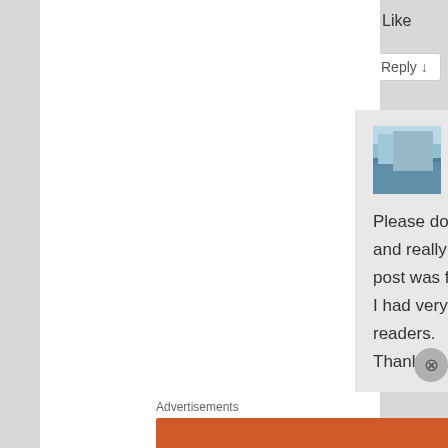★ Like
Reply ↓
merlinspielen on 2012-12-12 at 21:51 said:
Please do link away – and really until this one post was freshly pressed I had very few regular readers.
Thank you for your kind
Advertisements
[Figure (screenshot): DuckDuckGo advertisement banner with text 'Search, browse, and email with more privacy. All in One Free App' on orange background with phone image]